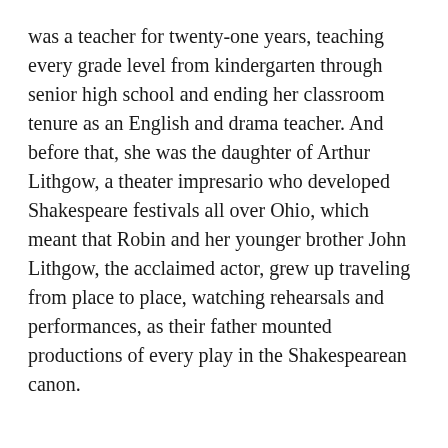was a teacher for twenty-one years, teaching every grade level from kindergarten through senior high school and ending her classroom tenure as an English and drama teacher. And before that, she was the daughter of Arthur Lithgow, a theater impresario who developed Shakespeare festivals all over Ohio, which meant that Robin and her younger brother John Lithgow, the acclaimed actor, grew up traveling from place to place, watching rehearsals and performances, as their father mounted productions of every play in the Shakespearean canon.
Help support the show at patreon.com/literature or historyofliterature.com/shop. (We appreciate it!) Find out more at historyofliterature.com, jackewilson.com, or by following Jacke and Mike on Twitter at @thejackewilson and @literatureSC. Or send an